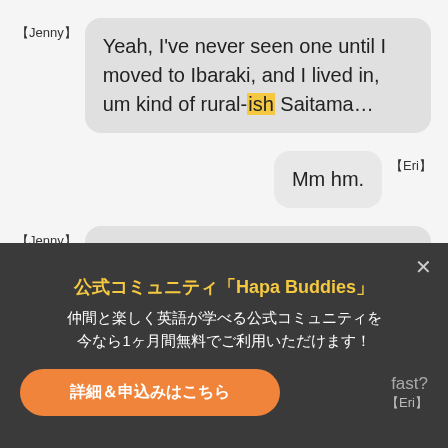【Jenny】 Yeah, I've never seen one until I moved to Ibaraki, and I lived in, um kind of rural-ish Saitama…
Mm hm. 【Eri】
【Jenny】 …but I'd never seen one until I came to Ibaraki and the first time I saw it, I just…I had no idea what it was, and I just freaked out …
公式コミュニティ「Hapa Buddies」仲間と楽しく英語が学べる公式コミュニティを今なら1ヶ月間無料でご利用いただけます！
詳細＆申込みはこちら
fast? 【Eri】